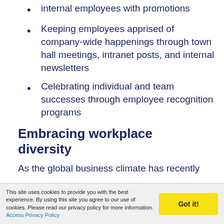internal employees with promotions
Keeping employees apprised of company-wide happenings through town hall meetings, intranet posts, and internal newsletters
Celebrating individual and team successes through employee recognition programs
Embracing workplace diversity
As the global business climate has recently
This site uses cookies to provide you with the best experience. By using this site you agree to our use of cookies. Please read our privacy policy for more information. Access Privacy Policy